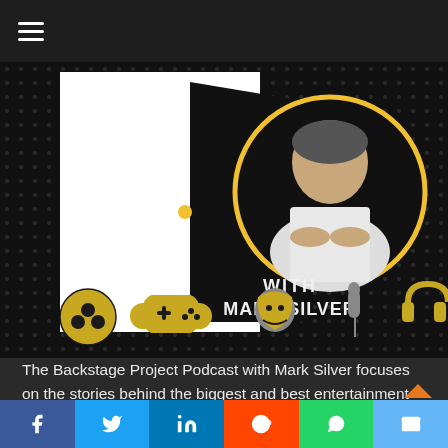☰
[Figure (illustration): The Backstage Project Podcast promotional banner with Mark Silver. Shows a dark dotted background with a white door graphic on the left, a circular portrait photo of Mark Silver (man in white shirt) on the upper right with a gold circular border, text 'WITH MARK SILVER' in gold/white, and entertainment icons at bottom (soccer ball, game controller, theater masks, microphone, headphones) in gold and dark colors.]
The Backstage Project Podcast with Mark Silver focuses on the stories behind the biggest and best entertainment products, events, and companies. We go behind the scenes with amazing people who have done or are doing